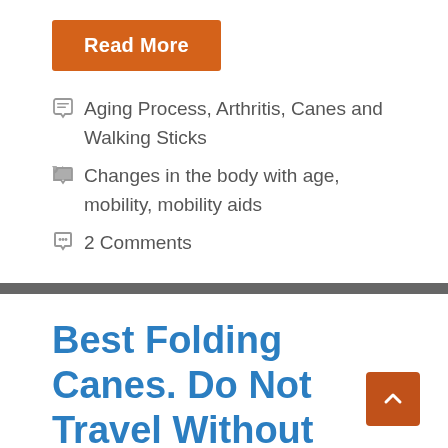Read More
Aging Process, Arthritis, Canes and Walking Sticks
Changes in the body with age, mobility, mobility aids
2 Comments
Best Folding Canes. Do Not Travel Without One
July 12, 2022 by Ceci